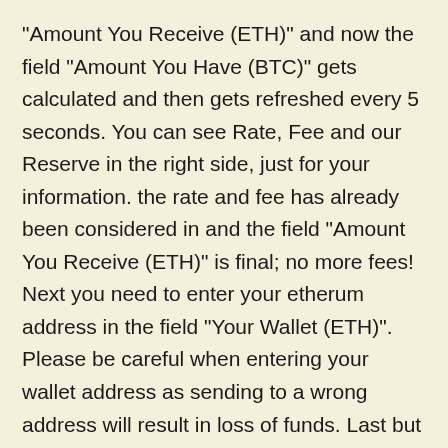"Amount You Receive (ETH)" and now the field "Amount You Have (BTC)" gets calculated and then gets refreshed every 5 seconds. You can see Rate, Fee and our Reserve in the right side, just for your information. the rate and fee has already been considered in and the field "Amount You Receive (ETH)" is final; no more fees! Next you need to enter your etherum address in the field "Your Wallet (ETH)". Please be careful when entering your wallet address as sending to a wrong address will result in loss of funds. Last but not least, you need to enter a valid email in "Your Valid Email" field. Link to your order and order notifications will be sent to this email. So provide a correct email and check your email inbox and spam for the link of order after submitting order and before making your payment. Now you need to accept Security Points" and Terms Of Use" and click Preview Button. You can see a preview of your order and if its ok, fill in the Security Code field and click